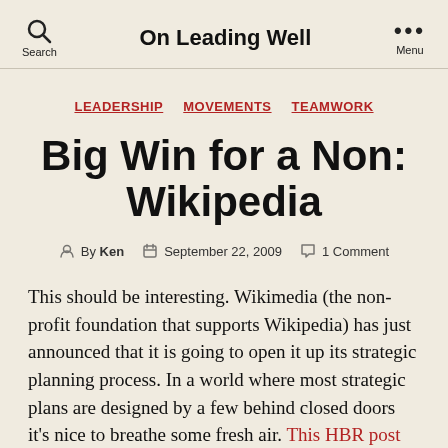On Leading Well
LEADERSHIP  MOVEMENTS  TEAMWORK
Big Win for a Non: Wikipedia
By Ken  September 22, 2009  1 Comment
This should be interesting. Wikimedia (the non-profit foundation that supports Wikipedia) has just announced that it is going to open it up its strategic planning process. In a world where most strategic plans are designed by a few behind closed doors it's nice to breathe some fresh air. This HBR post explains how